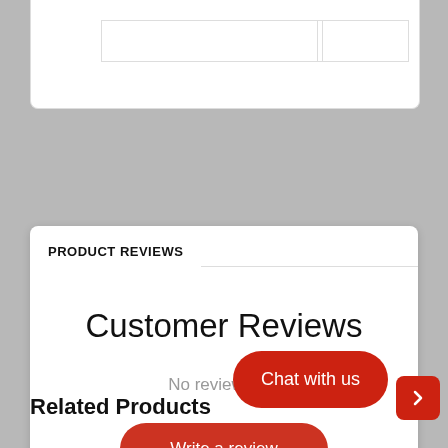PRODUCT REVIEWS
Customer Reviews
No reviews yet
Write a review
Related Products
Chat with us